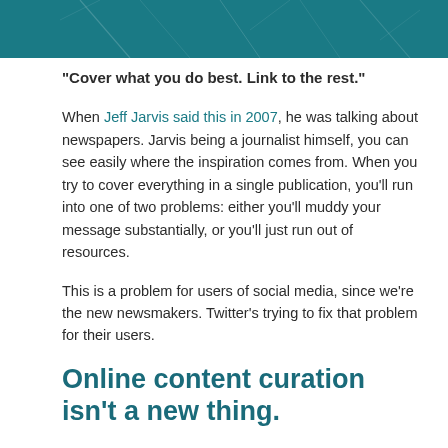[Figure (illustration): Teal/dark cyan decorative header banner with diagonal light streaks pattern]
“Cover what you do best. Link to the rest.”
When Jeff Jarvis said this in 2007, he was talking about newspapers. Jarvis being a journalist himself, you can see easily where the inspiration comes from. When you try to cover everything in a single publication, you'll run into one of two problems: either you’ll muddy your message substantially, or you'll just run out of resources.
This is a problem for users of social media, since we’re the new newsmakers. Twitter’s trying to fix that problem for their users.
Online content curation isn’t a new thing.